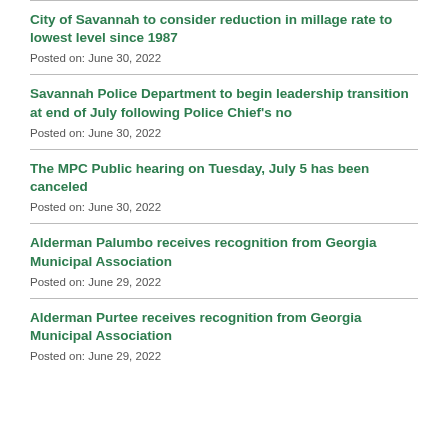City of Savannah to consider reduction in millage rate to lowest level since 1987
Posted on: June 30, 2022
Savannah Police Department to begin leadership transition at end of July following Police Chief's no
Posted on: June 30, 2022
The MPC Public hearing on Tuesday, July 5 has been canceled
Posted on: June 30, 2022
Alderman Palumbo receives recognition from Georgia Municipal Association
Posted on: June 29, 2022
Alderman Purtee receives recognition from Georgia Municipal Association
Posted on: June 29, 2022